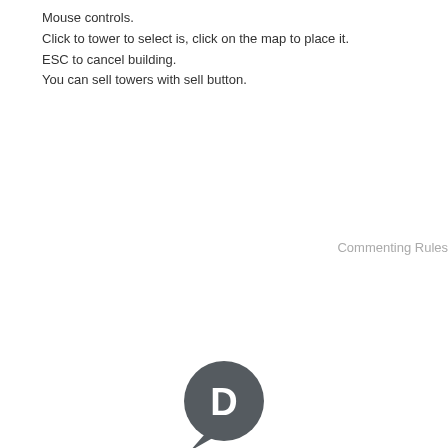Mouse controls.
Click to tower to select is, click on the map to place it.
ESC to cancel building.
You can sell towers with sell button.
Commenting Rules
[Figure (logo): Disqus logo: a dark grey speech bubble with a white letter D inside]